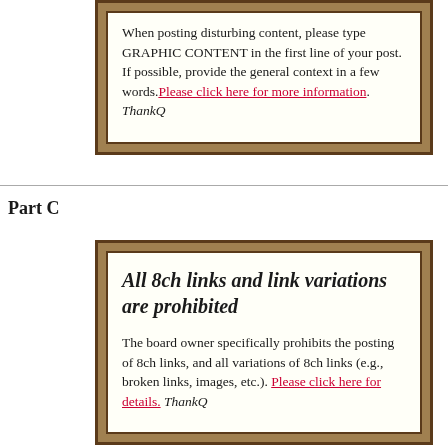When posting disturbing content, please type GRAPHIC CONTENT in the first line of your post. If possible, provide the general context in a few words. Please click here for more information. ThankQ
Part C
All 8ch links and link variations are prohibited
The board owner specifically prohibits the posting of 8ch links, and all variations of 8ch links (e.g., broken links, images, etc.). Please click here for details. ThankQ